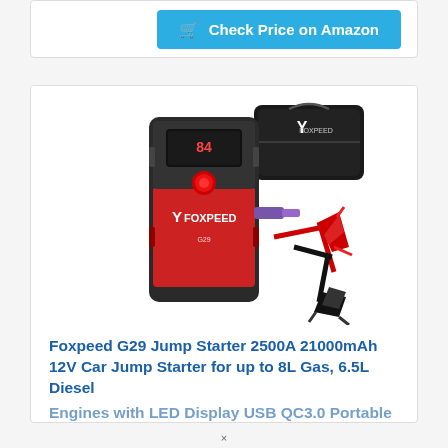[Figure (other): Check Price on Amazon button with shopping cart icon on a cyan/teal background button]
[Figure (photo): Foxpeed G29 jump starter device in black and red color with jumper cables (red and black clamps) and a carrying case]
Foxpeed G29 Jump Starter 2500A 21000mAh 12V Car Jump Starter for up to 8L Gas, 6.5L Diesel Engines with LED Display USB QC3.0 Portable